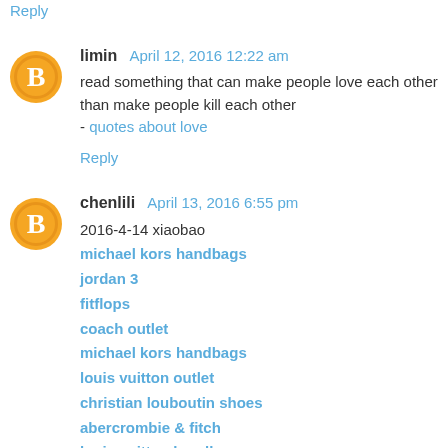Reply
limin  April 12, 2016 12:22 am
read something that can make people love each other than make people kill each other
- quotes about love
Reply
chenlili  April 13, 2016 6:55 pm
2016-4-14 xiaobao
michael kors handbags
jordan 3
fitflops
coach outlet
michael kors handbags
louis vuitton outlet
christian louboutin shoes
abercrombie & fitch
louis vuitton handbags
jordan 4 toro